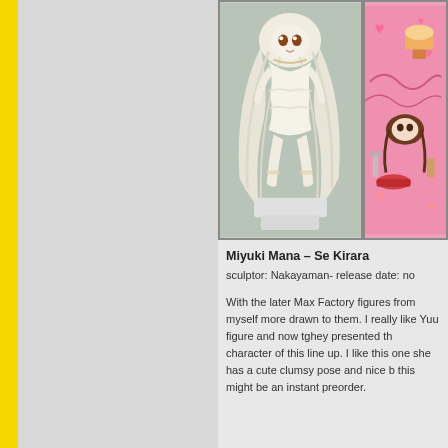[Figure (photo): White anime figure of Miyuki Mana in white outfit with long white hair, kneeling pose on white stand]
[Figure (illustration): Pink anime illustration with hearts, cupcake, and anime girl with brown hair on pink background]
Miyuki Mana – Se Kirara
sculptor: Nakayaman- release date: no
With the later Max Factory figures from myself more drawn to them. I really like Yuu figure and now tghey presented th character of this line up. I like this one she has a cute clumsy pose and nice b this might be an instant preorder.